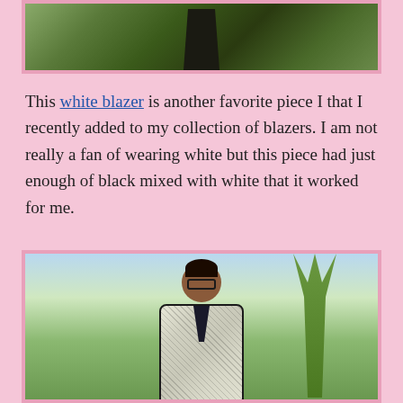[Figure (photo): Partial photo showing the lower body of a person standing outdoors, wearing black pants, with green bushes/plants in the background. Pink border around the image.]
This white blazer is another favorite piece I that I recently added to my collection of blazers. I am not really a fan of wearing white but this piece had just enough of black mixed with white that it worked for me.
[Figure (photo): Photo of a woman wearing glasses and a black and white patterned blazer/jacket with black trim, posing outdoors with palm trees in the background. Pink border around the image.]